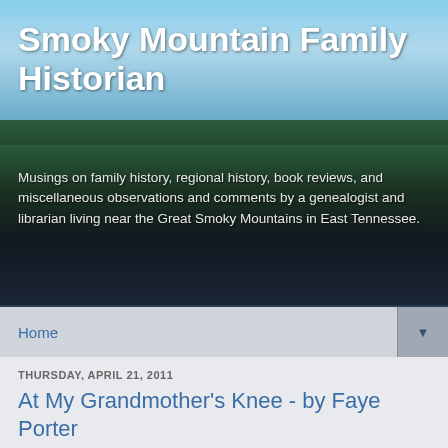Smoky Mountain Family Historian
Musings on family history, regional history, book reviews, and miscellaneous observations and comments by a genealogist and librarian living near the Great Smoky Mountains in East Tennessee.
Home
THURSDAY, APRIL 21, 2011
At My Grandmother's Knee - by Faye Porter
Porter, Faye. At My Grandmother's Knee: Recipes and Memories Handed Down by Women of the South. Nashville: Thomas Nelson, 2011.